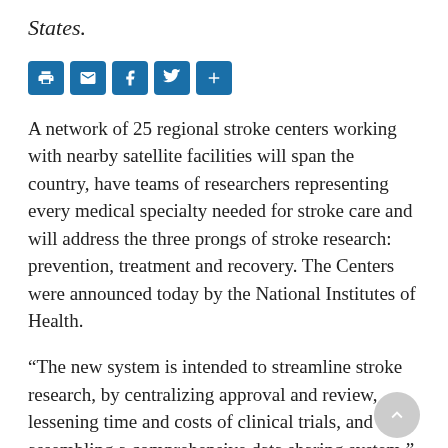States.
[Figure (other): Social sharing buttons: print, email, Facebook, Twitter, and a plus/more button, all in blue rounded square icons]
A network of 25 regional stroke centers working with nearby satellite facilities will span the country, have teams of researchers representing every medical specialty needed for stroke care and will address the three prongs of stroke research: prevention, treatment and recovery. The Centers were announced today by the National Institutes of Health.
“The new system is intended to streamline stroke research, by centralizing approval and review, lessening time and costs of clinical trials, and assembling a comprehensive data sharing system,” said Petra Kaufmann, M.D., the associate director for clinical research at the National Institute of Neurological Disorders and